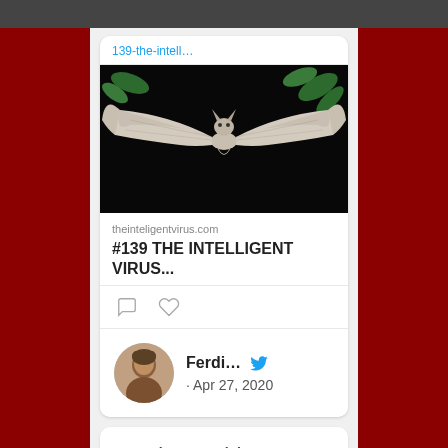139-the-intell…
[Figure (photo): A bat in flight with wings spread wide against a dark background with green leaves, wings are white/pale colored]
theinteligentvirus.com
#139 THE INTELLIGENT VIRUS...
Ferdi... · Apr 27, 2020
Stories Archive